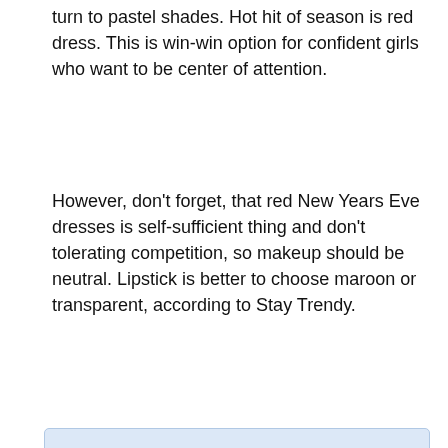turn to pastel shades. Hot hit of season is red dress. This is win-win option for confident girls who want to be center of attention.
However, don’t forget, that red New Years Eve dresses is self-sufficient thing and don’t tolerating competition, so makeup should be neutral. Lipstick is better to choose maroon or transparent, according to Stay Trendy.
New Years Eve Dresses: current colors and finishes
List of trendy colors and shades of New Years Eve dresses to which attention should be paid: yellow, silver, brown, red, blue. Each of named colors has rich palette, but experts recommend choosing not bright, but light or, on the contrary, deep tones.
Mixing of several colors is allowed in fashion. So